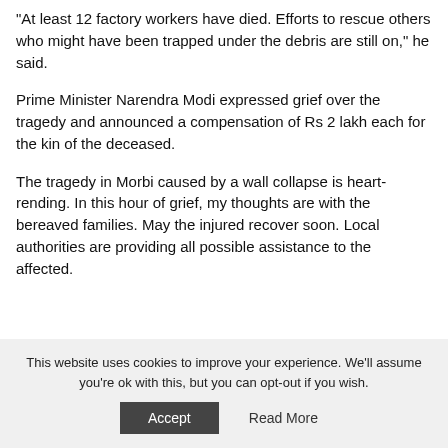“At least 12 factory workers have died. Efforts to rescue others who might have been trapped under the debris are still on,” he said.
Prime Minister Narendra Modi expressed grief over the tragedy and announced a compensation of Rs 2 lakh each for the kin of the deceased.
The tragedy in Morbi caused by a wall collapse is heart-rending. In this hour of grief, my thoughts are with the bereaved families. May the injured recover soon. Local authorities are providing all possible assistance to the affected.
This website uses cookies to improve your experience. We’ll assume you’re ok with this, but you can opt-out if you wish.
Accept  Read More